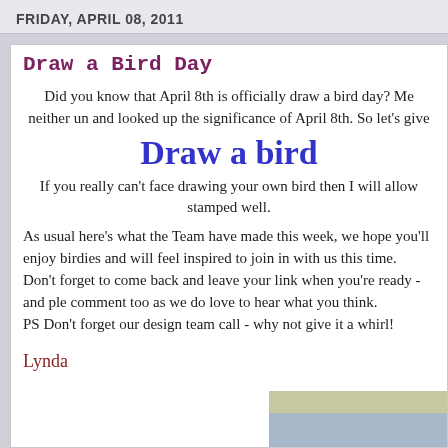FRIDAY, APRIL 08, 2011
Draw a Bird Day
Did you know that April 8th is officially draw a bird day? Me neither un and looked up the significance of April 8th. So let's give
Draw a bird
If you really can't face drawing your own bird then I will allow stamped well.
As usual here's what the Team have made this week, we hope you'll enjoy birdies and will feel inspired to join in with us this time.
Don't forget to come back and leave your link when you're ready - and ple comment too as we do love to hear what you think.
PS Don't forget our design team call - why not give it a whirl!
Lynda
[Figure (photo): Partial image of a crafted card or artwork visible at bottom right of page]